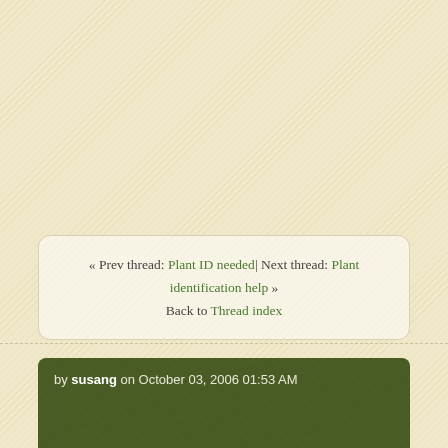« Prev thread: Plant ID needed| Next thread: Plant identification help » Back to Thread index
by susang on October 03, 2006 01:53 AM